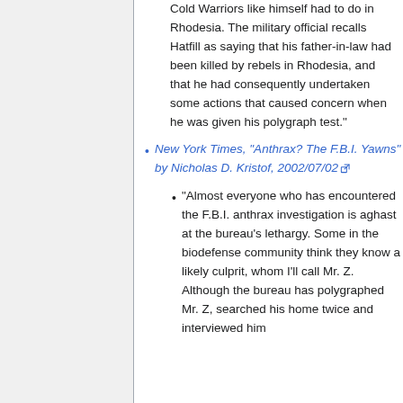Cold Warriors like himself had to do in Rhodesia. The military official recalls Hatfill as saying that his father-in-law had been killed by rebels in Rhodesia, and that he had consequently undertaken some actions that caused concern when he was given his polygraph test."
New York Times, "Anthrax? The F.B.I. Yawns" by Nicholas D. Kristof, 2002/07/02
"Almost everyone who has encountered the F.B.I. anthrax investigation is aghast at the bureau's lethargy. Some in the biodefense community think they know a likely culprit, whom I'll call Mr. Z. Although the bureau has polygraphed Mr. Z, searched his home twice and interviewed him